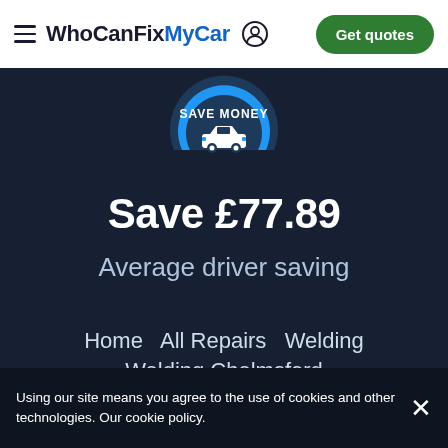WhoCanFixMyCar — Get quotes
[Figure (logo): Circular badge with 'SAVE MONEY' text and car icon in blue and dark blue colors]
Save £77.89
Average driver saving
Home  All Repairs  Welding  Welding Chelmsford
Using our site means you agree to the use of cookies and other technologies. Our cookie policy.